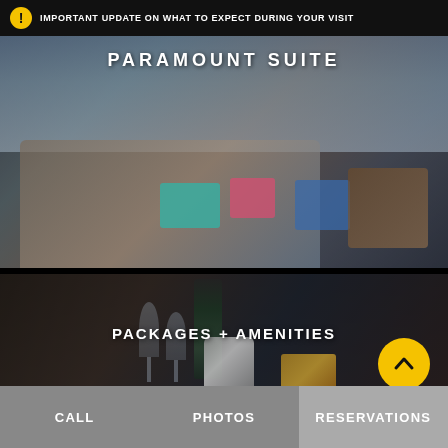IMPORTANT UPDATE ON WHAT TO EXPECT DURING YOUR VISIT
PARAMOUNT SUITE
[Figure (photo): Hotel room with colorful pillows, sofa, and city view through windows]
[Figure (photo): Champagne bottle in ice bucket with wine glasses on tray]
PACKAGES + AMENITIES
[Figure (photo): Hotel room interior with headboard and decorative wall art]
CALL   PHOTOS   RESERVATIONS